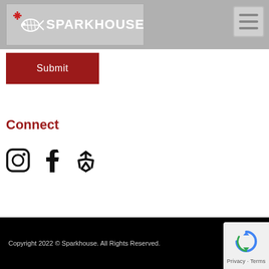[Figure (logo): Sparkhouse logo with fish skeleton icon and text SPARKHOUSE on grey header background]
[Figure (other): Hamburger menu button icon (three horizontal lines) in upper right corner]
[Figure (other): Red Submit button]
Connect
[Figure (other): Social media icons: Instagram, Facebook, Yelp]
Copyright 2022 © Sparkhouse. All Rights Reserved.
[Figure (other): Google reCAPTCHA badge with Privacy and Terms links]